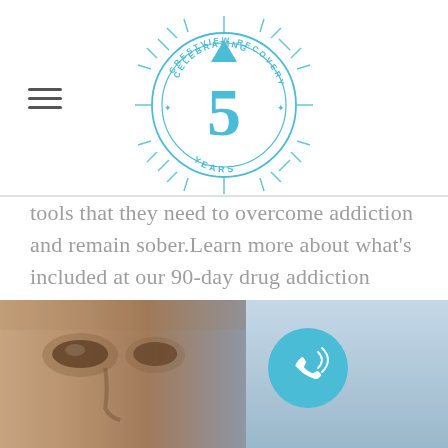[Figure (logo): Crestview Recovery logo — a circular badge with sunburst rays, the number 5 in the center, and text 'CELEBRATING 5 YEARS' around the edge, rendered in light blue/cyan]
tools that they need to overcome addiction and remain sober.Learn more about what's included at our 90-day drug addiction treatment center and the benefits of long-term...
[Figure (photo): Close-up photo of a person's face (eyes and nose visible) with a blurred blue/grey background, and a teal/cyan circular phone/call button overlay on the right side]